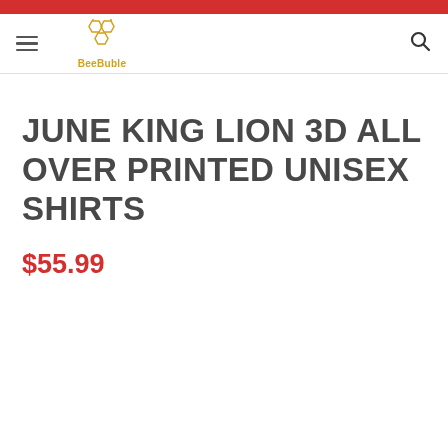BeeBuble navigation header
JUNE KING LION 3D ALL OVER PRINTED UNISEX SHIRTS
$55.99